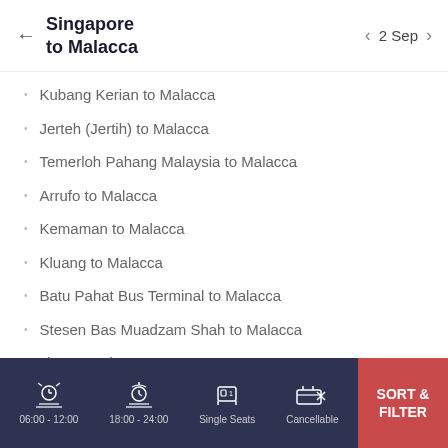Singapore to Malacca  2 Sep
Kubang Kerian to Malacca
Jerteh (Jertih) to Malacca
Temerloh Pahang Malaysia to Malacca
Arrufo to Malacca
Kemaman to Malacca
Kluang to Malacca
Batu Pahat Bus Terminal to Malacca
Stesen Bas Muadzam Shah to Malacca
Jitra to Malacca
more >>
06:00 - 12:00   18:00 - 24:00   Single Seats   Cancellable   SORT & FILTER